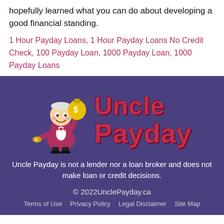hopefully learned what you can do about developing a good financial standing.
1 Hour Payday Loans, 1 Hour Payday Loans No Credit Check, 100 Payday Loan, 1000 Payday Loan, 1000 Payday Loans
[Figure (logo): Uncle Payday logo: cartoon man in red suit holding money bag and coins, with 'Uncle Payday' text on purple background]
Uncle Payday is not a lender nor a loan broker and does not make loan or credit decisions.
© 2022UnclePayday.ca
Terms of Use  Privacy Policy  Legal Disclaimer  Site Map